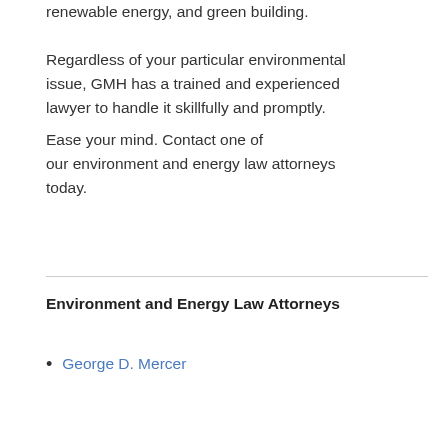renewable energy, and green building. Regardless of your particular environmental issue, GMH has a trained and experienced lawyer to handle it skillfully and promptly.
Ease your mind. Contact one of our environment and energy law attorneys today.
Environment and Energy Law Attorneys
George D. Mercer